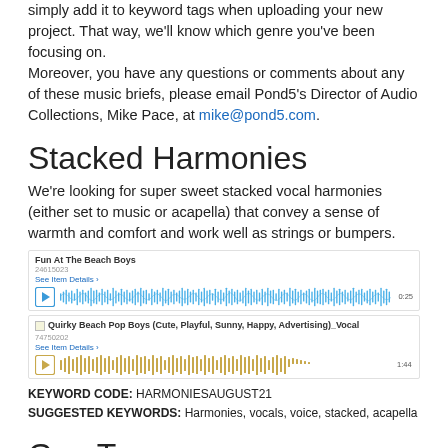simply add it to keyword tags when uploading your new project. That way, we'll know which genre you've been focusing on.
Moreover, you have any questions or comments about any of these music briefs, please email Pond5's Director of Audio Collections, Mike Pace, at mike@pond5.com.
Stacked Harmonies
We're looking for super sweet stacked vocal harmonies (either set to music or acapella) that convey a sense of warmth and comfort and work well as strings or bumpers.
[Figure (other): Audio waveform player for 'Fun At The Beach Boys' track showing blue waveform visualization with play button]
[Figure (other): Audio waveform player for 'Quirky Beach Pop Boys (Cute, Playful, Sunny, Happy, Advertising)_Vocal' track showing gold/tan waveform visualization with play button and checkbox]
KEYWORD CODE: HARMONIESAUGUST21
SUGGESTED KEYWORDS: Harmonies, vocals, voice, stacked, acapella
Goa Trance
Energetic electronic dance music that incorporates aspects of traditional Indian music as well as droning basslines, pulsating rhythms and hypnotic, trance-like melodies.
[Figure (other): Audio waveform player for 'Vedic Mantras (Ethnic Goa Trance)' track showing blue waveform visualization with play button]